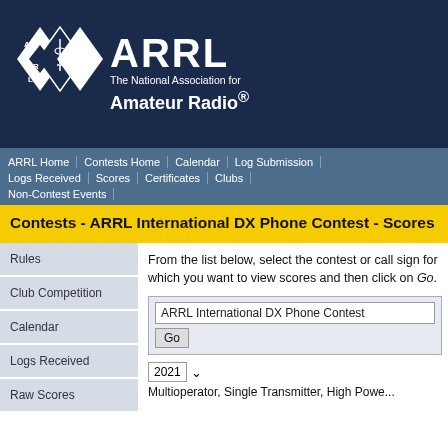[Figure (logo): ARRL logo with diamond shapes and antenna icon]
ARRL The National Association for Amateur Radio®
ARRL Home | Contests Home | Calendar | Log Submission | Logs Received | Scores | Certificates | Clubs | Non-Contest Events
Contests - ARRL International DX Phone Contest - Scores
Rules
Club Competition
Calendar
Logs Received
Raw Scores
From the list below, select the contest or call sign for which you want to view scores and then click on Go.
ARRL International DX Phone Contest
Go
2021
Multioperator, Single Transmitter, High Powe...